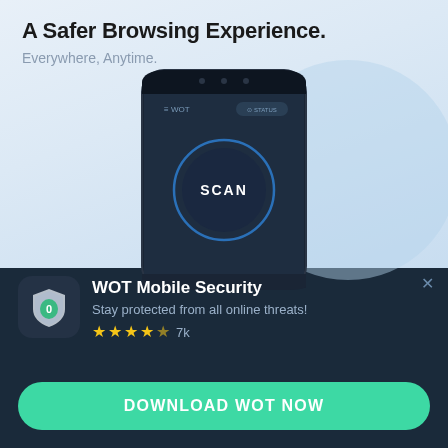A Safer Browsing Experience.
Everywhere, Anytime.
[Figure (screenshot): Phone mockup showing WOT mobile app with a SCAN button in the center on a dark blue background]
WOT Mobile Security
Stay protected from all online threats!
★★★★☆ 7k
DOWNLOAD WOT NOW